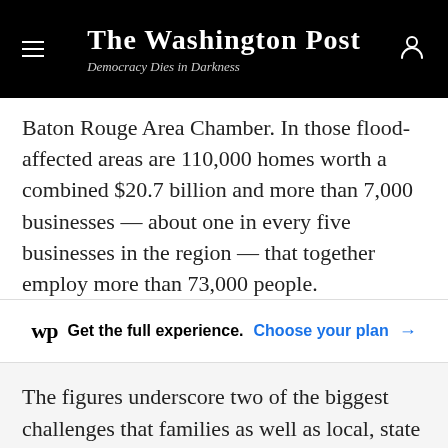The Washington Post
Democracy Dies in Darkness
Baton Rouge Area Chamber. In those flood-affected areas are 110,000 homes worth a combined $20.7 billion and more than 7,000 businesses — about one in every five businesses in the region — that together employ more than 73,000 people.
wp  Get the full experience.  Choose your plan →
The figures underscore two of the biggest challenges that families as well as local, state and federal officials face as they work to recover from the unprecedented flooding: How to house those left suddenly homeless.